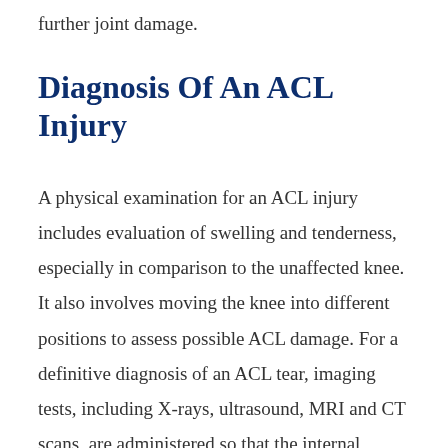further joint damage.
Diagnosis Of An ACL Injury
A physical examination for an ACL injury includes evaluation of swelling and tenderness, especially in comparison to the unaffected knee. It also involves moving the knee into different positions to assess possible ACL damage. For a definitive diagnosis of an ACL tear, imaging tests, including X-rays, ultrasound, MRI and CT scans, are administered so that the internal structure of the knee can be visualized.